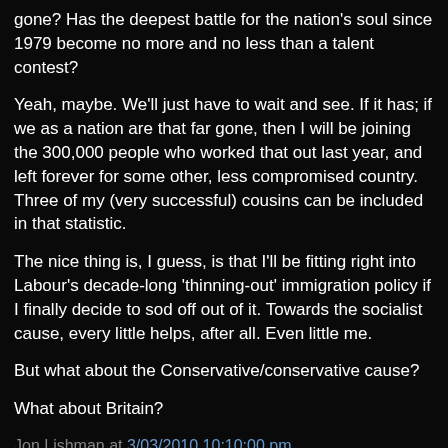gone? Has the deepest battle for the nation's soul since 1979 become no more and no less than a talent contest?
Yeah, maybe. We'll just have to wait and see. If it has; if we as a nation are that far gone, then I will be joining the 300,000 people who worked that out last year, and left forever for some other, less compromised country. Three of my (very successful) cousins can be included in that statistic.
The nice thing is, I guess, is that I'll be fitting right into Labour's decade-long 'thinning-out' immigration policy if I finally decide to sod off out of it. Towards the socialist cause, every little helps, after all. Even little me.
But what about the Conservative/conservative cause?
What about Britain?
Jon Lishman at 3/03/2010 10:10:00 pm
2 comments: